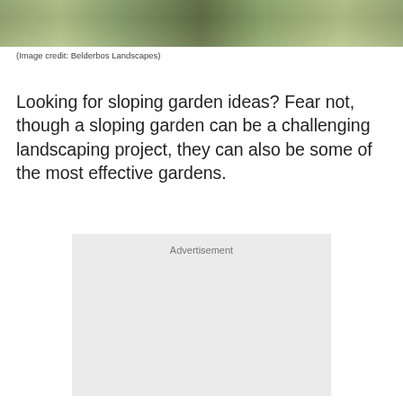[Figure (photo): Partial view of a sloping garden with stone paving, stepping stones, and lush greenery — top portion of the image visible as a strip]
(Image credit: Belderbos Landscapes)
Looking for sloping garden ideas? Fear not, though a sloping garden can be a challenging landscaping project, they can also be some of the most effective gardens.
[Figure (other): Advertisement placeholder box with label 'Advertisement']